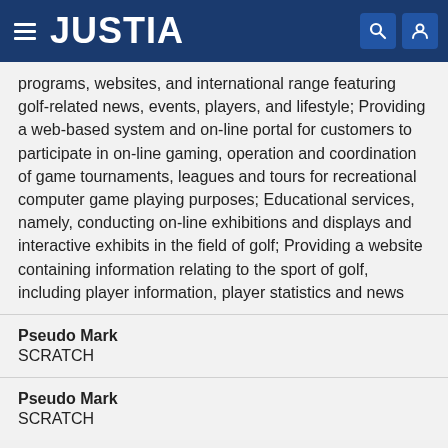JUSTIA
programs, websites, and international range featuring golf-related news, events, players, and lifestyle; Providing a web-based system and on-line portal for customers to participate in on-line gaming, operation and coordination of game tournaments, leagues and tours for recreational computer game playing purposes; Educational services, namely, conducting on-line exhibitions and displays and interactive exhibits in the field of golf; Providing a website containing information relating to the sport of golf, including player information, player statistics and news
Pseudo Mark
SCRATCH
Pseudo Mark
SCRATCH